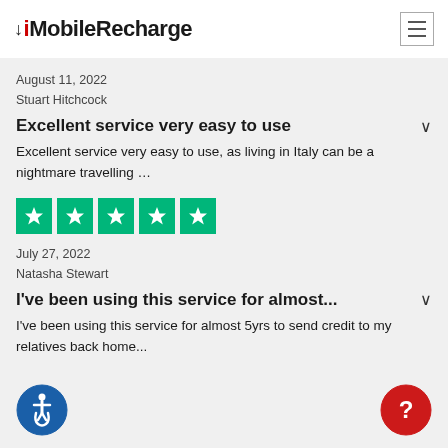MobileRecharge
August 11, 2022
Stuart Hitchcock
Excellent service very easy to use
Excellent service very easy to use, as living in Italy can be a nightmare travelling ...
[Figure (other): 5 green Trustpilot star rating boxes with white stars]
July 27, 2022
Natasha Stewart
I've been using this service for almost...
I've been using this service for almost 5yrs to send credit to my relatives back home...
[Figure (other): Blue accessibility icon circle button (wheelchair symbol)]
[Figure (other): Red help/question mark circle button]